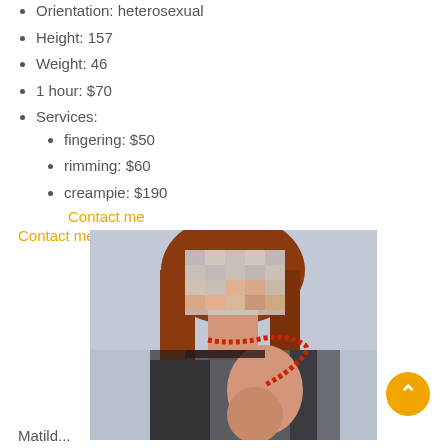Hair: brown
Orientation: heterosexual
Height: 157
Weight: 46
1 hour: $70
Services:
fingering: $50
rimming: $60
creampie: $190
Contact me
Contact me
[Figure (photo): Woman with red hair wearing sheer black top and red bead necklace, face blurred/pixelated]
Matild...